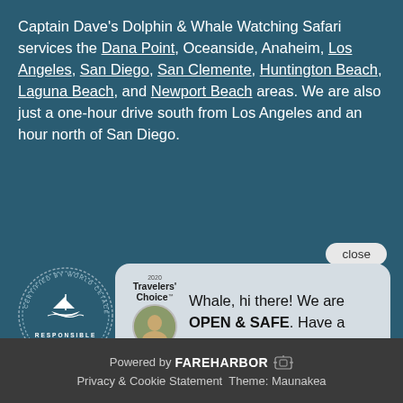Captain Dave's Dolphin & Whale Watching Safari services the Dana Point, Oceanside, Anaheim, Los Angeles, San Diego, San Clemente, Huntington Beach, Laguna Beach, and Newport Beach areas. We are also just a one-hour drive south from Los Angeles and an hour north of San Diego.
[Figure (logo): Certified by World Cetacean Alliance - Responsible Whale Watching circular badge with sailboat icon]
[Figure (screenshot): Chat bubble overlay with TripAdvisor 2020 Travelers Choice badge, avatar photo, and message: Whale, hi there! We are OPEN & SAFE. Have a question? Text us. With a close button.]
Powered by FareHarbor  Privacy & Cookie Statement Theme: Maunakea